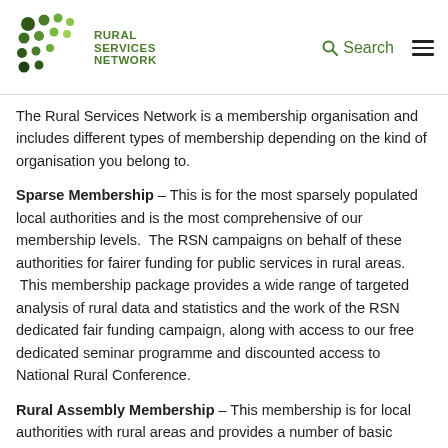Rural Services Network — Search
The Rural Services Network is a membership organisation and includes different types of membership depending on the kind of organisation you belong to.
Sparse Membership – This is for the most sparsely populated local authorities and is the most comprehensive of our membership levels. The RSN campaigns on behalf of these authorities for fairer funding for public services in rural areas. This membership package provides a wide range of targeted analysis of rural data and statistics and the work of the RSN dedicated fair funding campaign, along with access to our free dedicated seminar programme and discounted access to National Rural Conference.
Rural Assembly Membership – This membership is for local authorities with rural areas and provides a number of basic services, and access to the free dedicated seminar programme and discounted access to the National Rural...